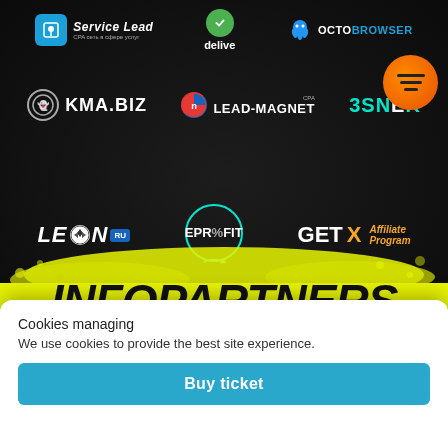[Figure (logo): Service Lead CPA network logo - white text on dark background, top-left area]
[Figure (logo): Delive logo - green circle icon with white text, top-center]
[Figure (logo): OctoBrowser logo - blue text on dark, top-right]
[Figure (logo): KMA.BIZ logo - white text with mascot icon, second row left]
[Figure (logo): LEAD-MAGNET CPA logo - red/blue icon with white text, second row center]
[Figure (logo): 3SNEK logo - cyan/teal text, second row right, partially obscured by orange Spotify-like circle]
[Figure (logo): LEON.RU logo - white bold italic text with soccer ball icon and blue RU badge, third row left]
[Figure (logo): EPR%FIT logo - teal circle with white text, third row center]
[Figure (logo): GETX Affiliate Program logo - white and orange text, third row right]
INFOPARTNERS
Cookies managing
We use cookies to provide the best site experience.
Buy ticket